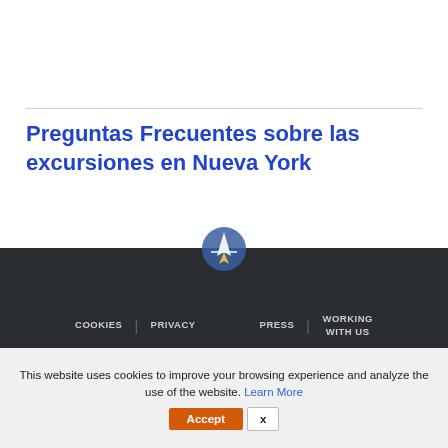Preguntas Frecuentes sobre las excursiones en Nueva York
COOKIES | PRIVACY | PRESS | WORKING WITH US
This website uses cookies to improve your browsing experience and analyze the use of the website. Learn More
Accept X